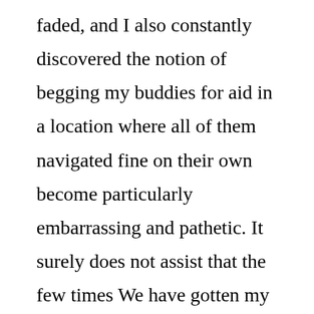faded, and I also constantly discovered the notion of begging my buddies for aid in a location where all of them navigated fine on their own become particularly embarrassing and pathetic. It surely does not assist that the few times We have gotten my (male) buddies tangled up in any such thing remotely nearing my love life, it finished badly. The long haul ideal is always to expand those internet sites either by simply making more earnest tries to socialize at the job and/or doing MeetUps with other comic nerds, or something like